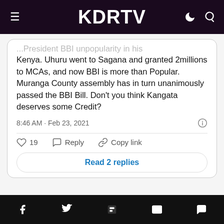KDRTV
...President BBI unpopularity in his Kenya. Uhuru went to Sagana and granted 2millions to MCAs, and now BBI is more than Popular. Muranga County assembly has in turn unanimously passed the BBI Bill. Don't you think Kangata deserves some Credit?
8:46 AM · Feb 23, 2021
19   Reply   Copy link
Read 2 replies
However, a section of netizens claim that Kangata should
Social share bar: Facebook, Twitter, Flipboard, Email, Comments